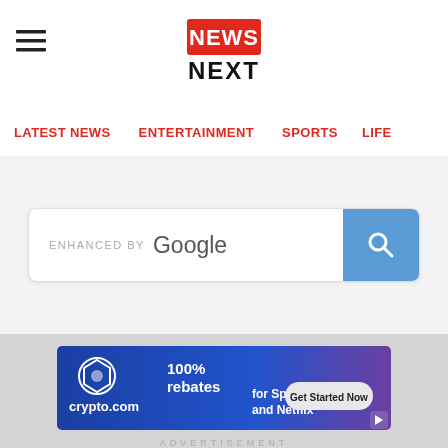[Figure (logo): NEWS NEXT logo — red rectangle with white NEWS text and black NEXT text below]
LATEST NEWS  ENTERTAINMENT  SPORTS  LIFE
[Figure (screenshot): Enhanced by Google search bar with blue search button]
[Figure (infographic): crypto.com advertisement banner: 100% rebates for Spotify and Netflix — Get Started Now]
ADVERTISEMENT